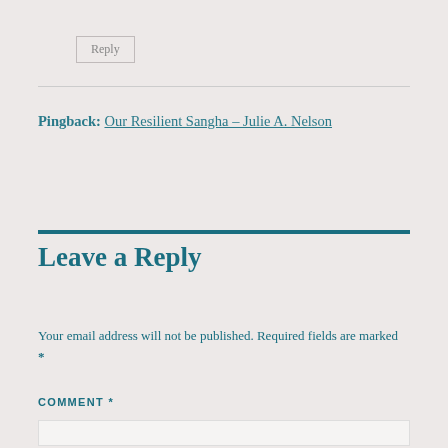Reply
Pingback: Our Resilient Sangha – Julie A. Nelson
Leave a Reply
Your email address will not be published. Required fields are marked *
COMMENT *